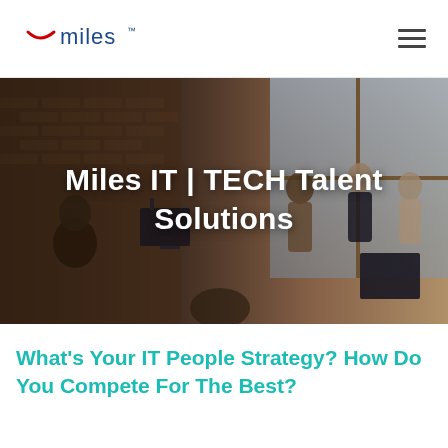miles™ [navigation menu icon]
[Figure (photo): Office scene with multiple people working at computers and standing in discussion in front of large windows with brick walls. Overlaid white bold text reads: Miles IT | TECH Talent Solutions]
Miles IT | TECH Talent Solutions
What's Your IT People Strategy? How Do You Compete For The Best?